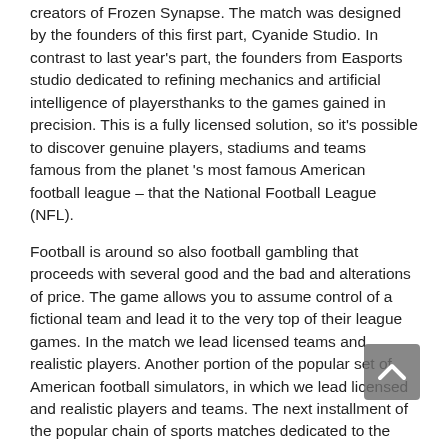creators of Frozen Synapse. The match was designed by the founders of this first part, Cyanide Studio. In contrast to last year's part, the founders from Easports studio dedicated to refining mechanics and artificial intelligence of playersthanks to the games gained in precision. This is a fully licensed solution, so it's possible to discover genuine players, stadiums and teams famous from the planet 's most famous American football league – that the National Football League (NFL).
Football is around so also football gambling that proceeds with several good and the bad and alterations of price. The game allows you to assume control of a fictional team and lead it to the very top of their league games. In the match we lead licensed teams and realistic players. Another portion of the popular set of American football simulators, in which we lead licensed and realistic players and teams. The next installment of the popular chain of sports matches dedicated to the American football. The fourth installation (after the 20-16 re boot ) of a collection of racing games from which players sit behind the wheel of both automobiles and race on 38 actual paths, fighting victory in three NASCAR and Xtreme Dirt Tour series. You've got to play with a good deal & know about the nuances of every